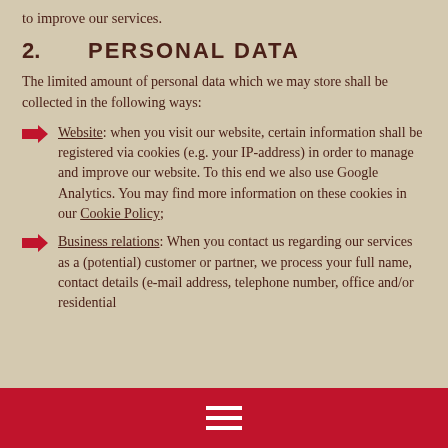to improve our services.
2.    PERSONAL DATA
The limited amount of personal data which we may store shall be collected in the following ways:
Website: when you visit our website, certain information shall be registered via cookies (e.g. your IP-address) in order to manage and improve our website. To this end we also use Google Analytics. You may find more information on these cookies in our Cookie Policy;
Business relations: When you contact us regarding our services as a (potential) customer or partner, we process your full name, contact details (e-mail address, telephone number, office and/or residential